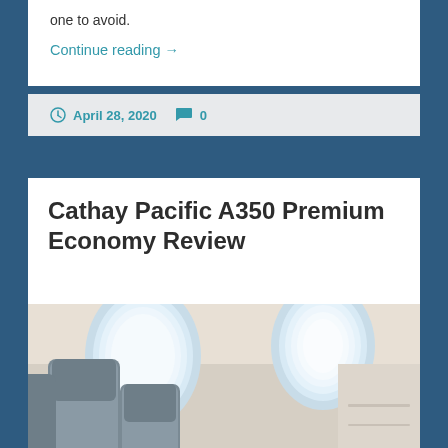one to avoid.
Continue reading →
April 28, 2020   0
Cathay Pacific A350 Premium Economy Review
[Figure (photo): Interior of an airplane premium economy cabin showing two grey padded seats with headrests and two oval windows with bright light coming through, on the right side of the aircraft.]